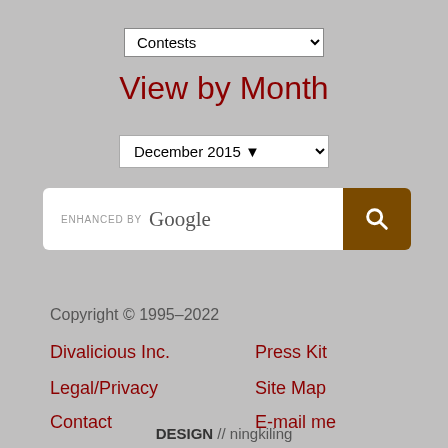Contests (dropdown)
View by Month
December 2015 (dropdown)
[Figure (other): Search bar with 'ENHANCED BY Google' label and a brown search button with magnifying glass icon]
Copyright © 1995–2022
Divalicious Inc.
Press Kit
Legal/Privacy
Site Map
Contact
E-mail me
DESIGN // ningkiling